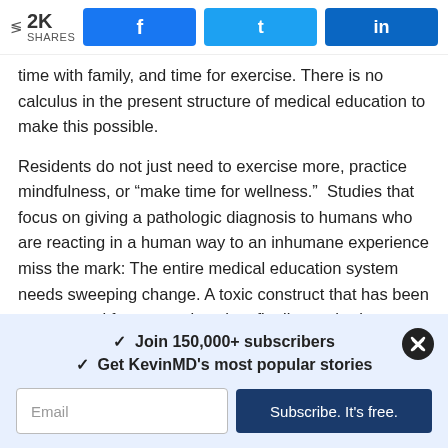< 2K SHARES  [Facebook] [Twitter] [LinkedIn]
time with family, and time for exercise. There is no calculus in the present structure of medical education to make this possible.
Residents do not just need to exercise more, practice mindfulness, or “make time for wellness.”  Studies that focus on giving a pathologic diagnosis to humans who are reacting in a human way to an inhumane experience miss the mark: The entire medical education system needs sweeping change. A toxic construct that has been perpetuated for generations has finally reached a pinnacle in which the very persons who wish to dedicate their lives to keeping others healthy have been sentenced to age six times faster. This is
✓ Join 150,000+ subscribers
✓ Get KevinMD's most popular stories
Email
Subscribe. It's free.